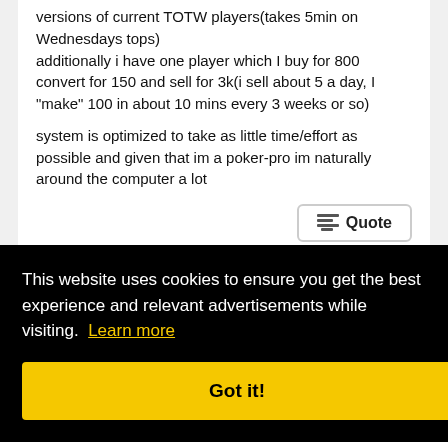versions of current TOTW players(takes 5min on Wednesdays tops)
additionally i have one player which I buy for 800 convert for 150 and sell for 3k(i sell about 5 a day, I "make" 100 in about 10 mins every 3 weeks or so)

system is optimized to take as little time/effort as possible and given that im a poker-pro im naturally around the computer a lot
Quote
#4042
This website uses cookies to ensure you get the best experience and relevant advertisements while visiting. Learn more
Got it!
Anyway, I doubt we will agree on it so just agree to disagree.